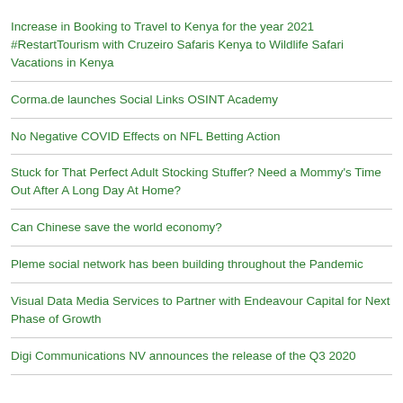Increase in Booking to Travel to Kenya for the year 2021 #RestartTourism with Cruzeiro Safaris Kenya to Wildlife Safari Vacations in Kenya
Corma.de launches Social Links OSINT Academy
No Negative COVID Effects on NFL Betting Action
Stuck for That Perfect Adult Stocking Stuffer? Need a Mommy's Time Out After A Long Day At Home?
Can Chinese save the world economy?
Pleme social network has been building throughout the Pandemic
Visual Data Media Services to Partner with Endeavour Capital for Next Phase of Growth
Digi Communications NV announces the release of the Q3 2020